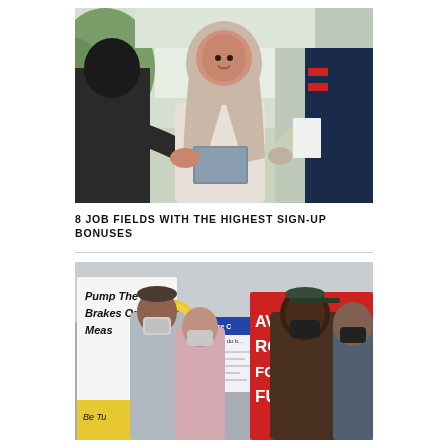[Figure (photo): Professional woman wearing a hijab and white blazer shaking hands in an office setting, holding documents, with another person visible on the right wearing a red and navy scarf.]
8 JOB FIELDS WITH THE HIGHEST SIGN-UP BONUSES
[Figure (photo): Protesters wearing face masks holding signs including 'Pump The Brakes On Measure C', a sign with 'Measure C - Fresno can do be...', and a large red sign reading 'SAVE THE ROAD FOR OUR FUTU...' partially visible.]